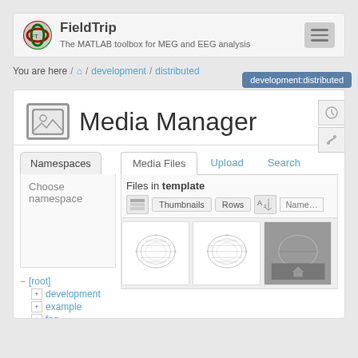FieldTrip — The MATLAB toolbox for MEG and EEG analysis
You are here / home / development / distributed
development:distributed
Media Manager
Namespaces
Choose namespace
Media Files  Upload  Search
Files in template
- [root]
+ development
+ example
+ faq
[Figure (screenshot): Thumbnail of EEG topographic map 1]
[Figure (screenshot): Thumbnail of EEG topographic map 2]
[Figure (screenshot): Thumbnail (dark) partially visible]